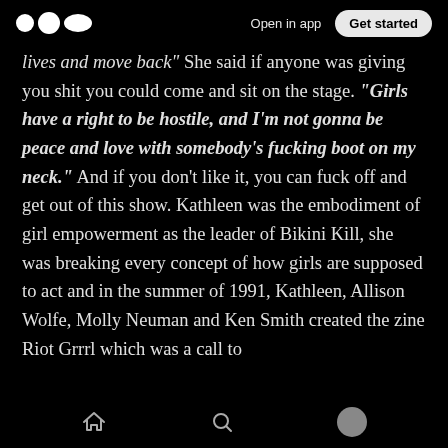Medium logo | Open in app | Get started
lives and move back” She said if anyone was giving you shit you could come and sit on the stage. “Girls have a right to be hostile, and I’m not gonna be peace and love with somebody’s fucking boot on my neck.” And if you don’t like it, you can fuck off and get out of this show. Kathleen was the embodiment of girl empowerment as the leader of Bikini Kill, she was breaking every concept of how girls are supposed to act and in the summer of 1991, Kathleen, Allison Wolfe, Molly Neuman and Ken Smith created the zine Riot Grrrl which was a call to
Home | Search | Profile